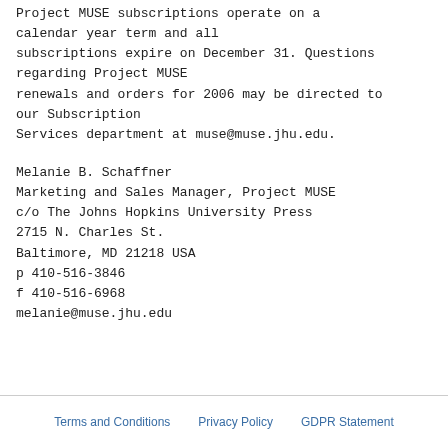Project MUSE subscriptions operate on a calendar year term and all subscriptions expire on December 31. Questions regarding Project MUSE renewals and orders for 2006 may be directed to our Subscription Services department at muse@muse.jhu.edu.
Melanie B. Schaffner
Marketing and Sales Manager, Project MUSE
c/o The Johns Hopkins University Press
2715 N. Charles St.
Baltimore, MD 21218 USA
p 410-516-3846
f 410-516-6968
melanie@muse.jhu.edu
Terms and Conditions   Privacy Policy   GDPR Statement